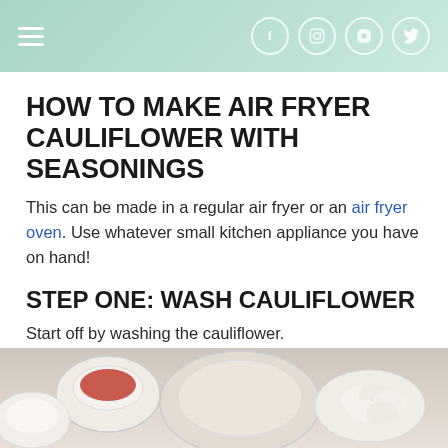Navigation header with hamburger menu and social icons (Facebook, Instagram, Pinterest, Twitter)
HOW TO MAKE AIR FRYER CAULIFLOWER WITH SEASONINGS
This can be made in a regular air fryer or an air fryer oven. Use whatever small kitchen appliance you have on hand!
STEP ONE: WASH CAULIFLOWER
Start off by washing the cauliflower.
Break the head up into small florets.
[Figure (photo): Photo showing small bowls with spices and cauliflower florets on a light surface]